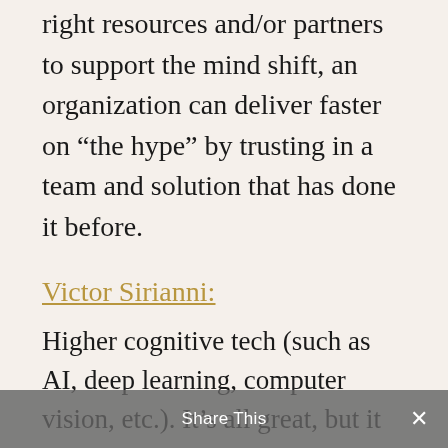right resources and/or partners to support the mind shift, an organization can deliver faster on “the hype” by trusting in a team and solution that has done it before.
Victor Sirianni:
Higher cognitive tech (such as AI, deep learning, computer vision, etc.). It’s all great, but it still surprises me when industry practitioners point companies to these advanced solutions without first discussing process maturity. Automating bad processes just accelerates failure: more defects, more bad decisions based on more bad data, more
Share This